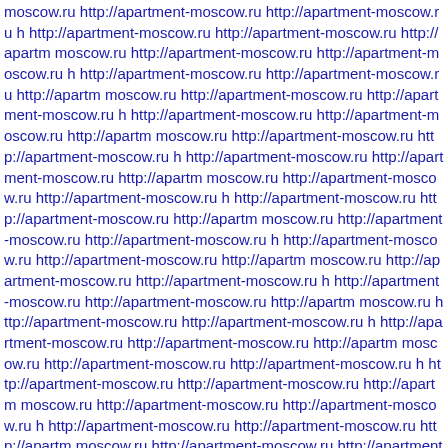moscow.ru http://apartment-moscow.ru http://apartment-moscow.ru http://apartment-moscow.ru http://apartment-moscow.ru http://apartment-moscow.ru http://apartment-moscow.ru http://apartment-moscow.ru http://apartment-moscow.ru http://apartment-moscow.ru http://apartment-moscow.ru http://apartment-moscow.ru http://apartment-moscow.ru http://apartment-moscow.ru http://apartment-moscow.ru http://apartment-moscow.ru http://apartment-moscow.ru http://apartment-moscow.ru http://apartment-moscow.ru http://apartment-moscow.ru http://apartment-moscow.ru http://apartment-moscow.ru http://apartment-moscow.ru http://apartment-moscow.ru http://apartment-moscow.ru http://apartment-moscow.ru http://apartment-moscow.ru http://apartment-moscow.ru http://apartment-moscow.ru http://apartment-moscow.ru http://apartment-moscow.ru http://apartment-moscow.ru http://apartment-moscow.ru http://apartment-moscow.ru http://apartment-moscow.ru http://apartment-moscow.ru http://apartment-moscow.ru http://apartment-moscow.ru http://apartment-moscow.ru http://apartment-moscow.ru http://apartment-moscow.ru http://apartment-moscow.ru http://apartment-moscow.ru http://apartment-moscow.ru http://apartment-moscow.ru